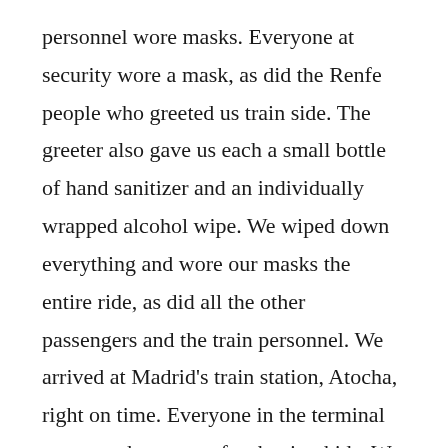personnel wore masks. Everyone at security wore a mask, as did the Renfe people who greeted us train side. The greeter also gave us each a small bottle of hand sanitizer and an individually wrapped alcohol wipe. We wiped down everything and wore our masks the entire ride, as did all the other passengers and the train personnel. We arrived at Madrid's train station, Atocha, right on time. Everyone in the terminal wore masks, except for the tiny kids. We grabbed a taxi and drove to our hotel near the airport. The hotel had moved all of its restaurant tables outside, so we ate dinner away from others and without having to leave the premises. The hotel was a little noisy, but it served its purpose. Our 4AM taxi took us straight to the terminal, and we had no trouble checking our bags. In each airport, we wore